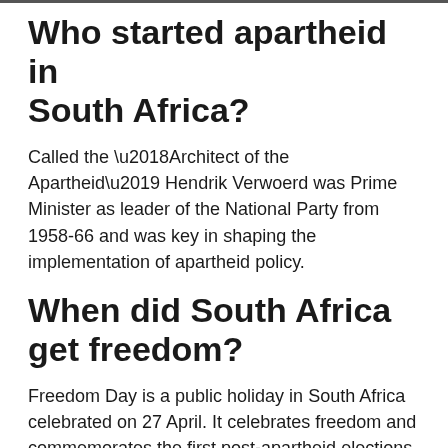Who started apartheid in South Africa?
Called the ‘Architect of the Apartheid’ Hendrik Verwoerd was Prime Minister as leader of the National Party from 1958-66 and was key in shaping the implementation of apartheid policy.
When did South Africa get freedom?
Freedom Day is a public holiday in South Africa celebrated on 27 April. It celebrates freedom and commemorates the first post-apartheid elections held on that day in 1994.
...